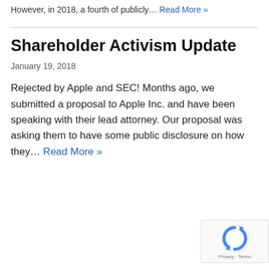However, in 2018, a fourth of publicly… Read More »
Shareholder Activism Update
January 19, 2018
Rejected by Apple and SEC! Months ago, we submitted a proposal to Apple Inc. and have been speaking with their lead attorney. Our proposal was asking them to have some public disclosure on how they… Read More »